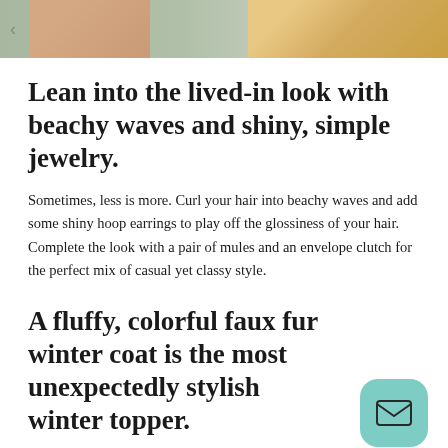[Figure (photo): Partial photo of a person wearing a light sage/mint colored top, with skin and blonde hair visible. A carousel back arrow is visible on the left side.]
Lean into the lived-in look with beachy waves and shiny, simple jewelry.
Sometimes, less is more. Curl your hair into beachy waves and add some shiny hoop earrings to play off the glossiness of your hair. Complete the look with a pair of mules and an envelope clutch for the perfect mix of casual yet classy style.
A fluffy, colorful faux fur winter coat is the most unexpectedly stylish winter topper.
This is the outfit you put together when you want to feel like a